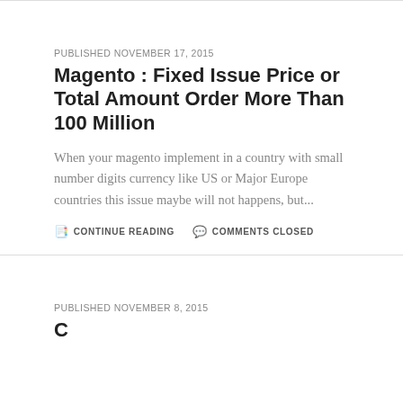PUBLISHED NOVEMBER 17, 2015
Magento : Fixed Issue Price or Total Amount Order More Than 100 Million
When your magento implement in a country with small number digits currency like US or Major Europe countries this issue maybe will not happens, but...
CONTINUE READING   COMMENTS CLOSED
PUBLISHED NOVEMBER 8, 2015